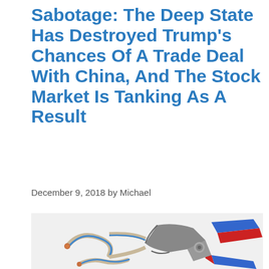Sabotage: The Deep State Has Destroyed Trump’s Chances Of A Trade Deal With China, And The Stock Market Is Tanking As A Result
December 9, 2018 by Michael
[Figure (photo): Close-up photo of wire cutters (pliers with blue and red handles) cutting through electrical wires on a white background]